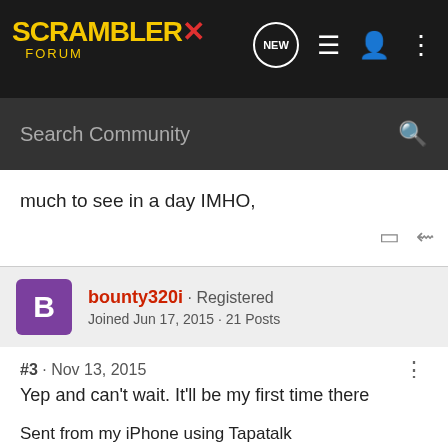[Figure (logo): ScramblerX Forum logo — yellow bold text with red X, on dark background nav bar]
Search Community
much to see in a day IMHO,
bounty320i · Registered
Joined Jun 17, 2015 · 21 Posts
#3 · Nov 13, 2015
Yep and can't wait. It'll be my first time there
Sent from my iPhone using Tapatalk